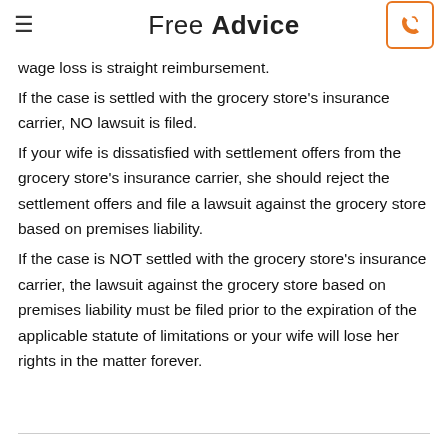Free Advice
wage loss is straight reimbursement.
If the case is settled with the grocery store's insurance carrier, NO lawsuit is filed.
If your wife is dissatisfied with settlement offers from the grocery store's insurance carrier, she should reject the settlement offers and file a lawsuit against the grocery store based on premises liability.
If the case is NOT settled with the grocery store's insurance carrier, the lawsuit against the grocery store based on premises liability must be filed prior to the expiration of the applicable statute of limitations or your wife will lose her rights in the matter forever.